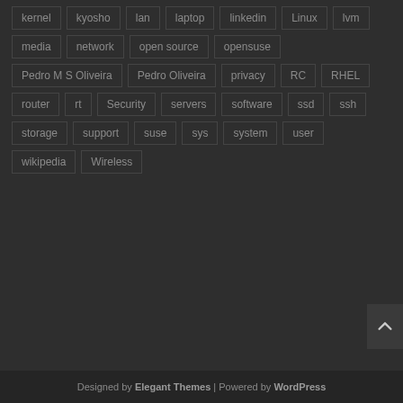kernel kyosho lan laptop linkedin Linux lvm media network open source opensuse Pedro M S Oliveira Pedro Oliveira privacy RC RHEL router rt Security servers software ssd ssh storage support suse sys system user wikipedia Wireless
Designed by Elegant Themes | Powered by WordPress